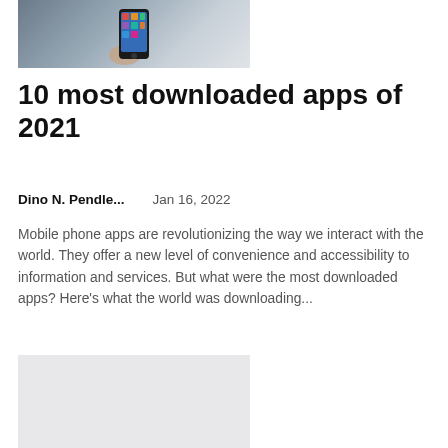[Figure (photo): Hand holding a smartphone with app icons visible on screen]
10 most downloaded apps of 2021
Dino N. Pendle...    Jan 16, 2022
Mobile phone apps are revolutionizing the way we interact with the world. They offer a new level of convenience and accessibility to information and services. But what were the most downloaded apps? Here's what the world was downloading...
[Figure (photo): Second article image placeholder, light gray background]